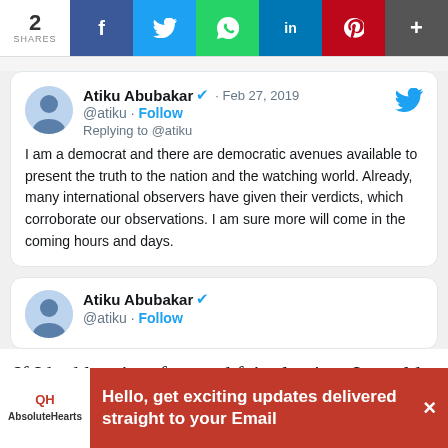2 SHARES | Facebook | Twitter | WhatsApp | LinkedIn | Pinterest | More
[Figure (screenshot): Tweet by Atiku Abubakar (@atiku) on Feb 27, 2019 with verified badge. Text: I am a democrat and there are democratic avenues available to present the truth to the nation and the watching world. Already, many international observers have given their verdicts, which corroborate our observations. I am sure more will come in the coming hours and days.]
[Figure (screenshot): Second tweet author block by Atiku Abubakar (@atiku) with Follow link.]
If I had lost in a free and fair election, I would have called the victor within seconds of my
[Figure (infographic): AbsoluteHearts ad banner: Hello, get exciting updates delivered straight to your Email]